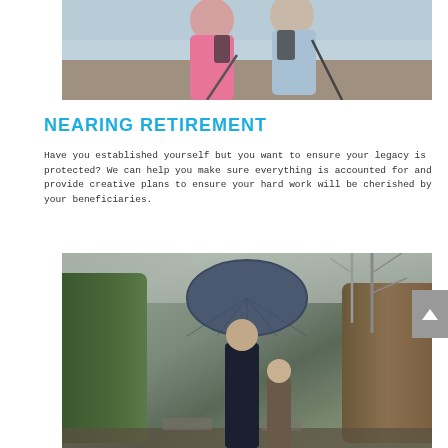[Figure (photo): Two elderly people hiking on a pebbly beach, one in a pink polo shirt and one in a light blue shirt, both holding trekking poles]
NEARING RETIREMENT
Have you established yourself but you want to ensure your legacy is protected? We can help you make sure everything is accounted for and provide creative plans to ensure your hard work will be cherished by your beneficiaries.
[Figure (photo): Adult and child standing in a cemetery under a large blue umbrella, surrounded by hedges and bare trees in a wintry garden setting]